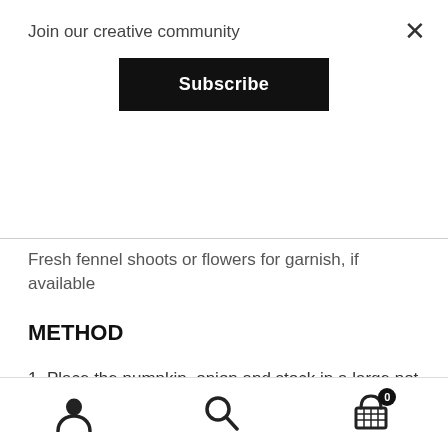Join our creative community
Subscribe
Fresh fennel shoots or flowers for garnish, if available
METHOD
1. Place the pumpkin, onion and stock in a large pot and cover with enough water to just submerge all the pumpkin chunks.
2. Bring to the boil, then add the fennel seeds.
3. Simmer on low heat until the pumpkin is very soft.
4. Add sour cream, season with salt and pepper, then blend with stick blen...
navigation icons: user, search, cart (0)